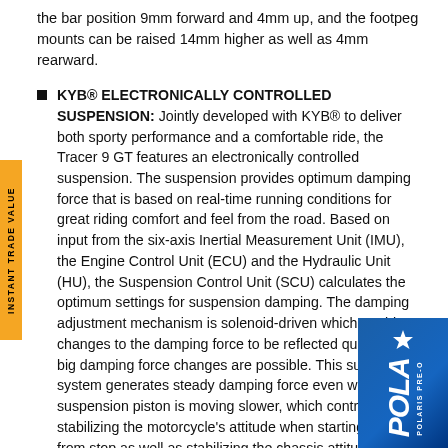the bar position 9mm forward and 4mm up, and the footpeg mounts can be raised 14mm higher as well as 4mm rearward.
KYB® ELECTRONICALLY CONTROLLED SUSPENSION: Jointly developed with KYB® to deliver both sporty performance and a comfortable ride, the Tracer 9 GT features an electronically controlled suspension. The suspension provides optimum damping force that is based on real-time running conditions for great riding comfort and feel from the road. Based on input from the six-axis Inertial Measurement Unit (IMU), the Engine Control Unit (ECU) and the Hydraulic Unit (HU), the Suspension Control Unit (SCU) calculates the optimum settings for suspension damping. The damping adjustment mechanism is solenoid-driven which enables changes to the damping force to be reflected quickly, and big damping force changes are possible. This suspension system generates steady damping force even when the suspension piston is moving slower, which contributes to stabilizing the motorcycle's attitude when starting from a stop as well as stabilizing the chassis attitude when accelerating, braking and cornering. The electronically